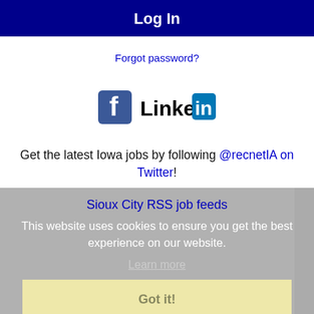Log In
Forgot password?
[Figure (logo): Facebook logo icon and LinkedIn logo icon side by side]
Get the latest Iowa jobs by following @recnetIA on Twitter!
Sioux City RSS job feeds
This website uses cookies to ensure you get the best experience on our website.
Learn more
Got it!
JOB SEEKERS
Search Sioux City jobs